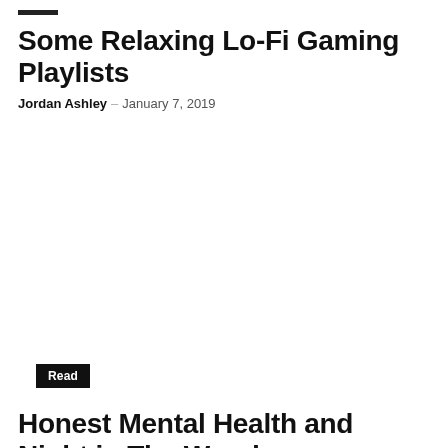Some Relaxing Lo-Fi Gaming Playlists
Jordan Ashley – January 7, 2019
Read
Honest Mental Health and Night in The Woods
Jordan Ashley – July 19, 2018